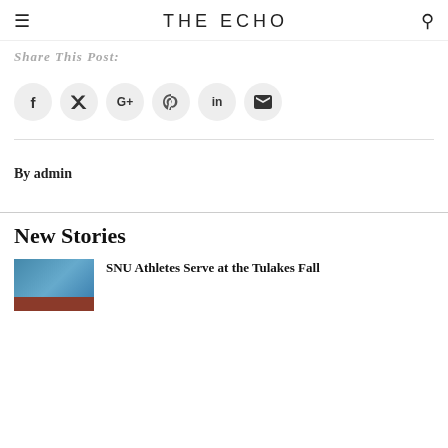THE ECHO
Share This Post:
[Figure (other): Six social media sharing icon circles: Facebook (f), Twitter (bird), Google+, Pinterest, LinkedIn (in), Email (envelope)]
By admin
New Stories
[Figure (photo): Thumbnail image showing a blue swimming pool lane with an orange/red bar at the bottom]
SNU Athletes Serve at the Tulakes Fall